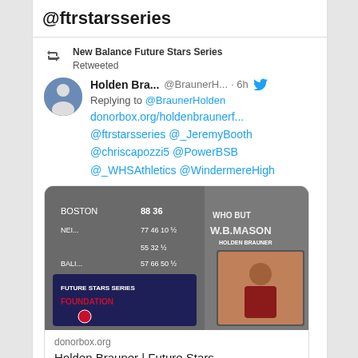@ftrstarsseries
New Balance Future Stars Series Retweeted
Holden Bra...  @BraunerH...  · 6h
Replying to @BraunerHolden
donorbox.org/holdenbraunerf...
@ftrstarsseries @_JeremyBooth
@chriscapozzi5 @PowerBSB
@_WHSAthletics @WindermereHigh
[Figure (photo): Baseball scoreboard with Future Stars Series Foundation logo overlay and photo of Holden Brauner holding a bat]
donorbox.org
Holden Brauner | Future Stars Series Foundation (Powered by ...